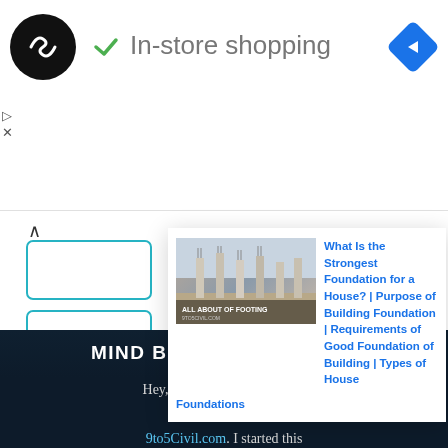[Figure (screenshot): Top ad banner with a black circle logo with double-arrow symbol, green checkmark, text 'In-store shopping', and blue navigation diamond icon on right. Ad controls (play and close icons) on left.]
[Figure (screenshot): Popup article card with thumbnail image of concrete foundation columns labeled 'ALL ABOUT OF FOOTING' from 9to5civil.com, article title in blue: 'What Is the Strongest Foundation for a House? | Purpose of Building Foundation | Requirements of Good Foundation of Building | Types of House Foundations']
MIND BEHIND 9TO5 CIVIL
Hey, I am Bhadresh Khatri. The Man Behind 9to5Civil.com. I started this